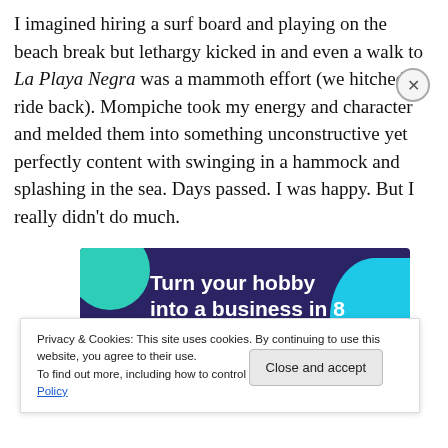I imagined hiring a surf board and playing on the beach break but lethargy kicked in and even a walk to La Playa Negra was a mammoth effort (we hitched a ride back). Mompiche took my energy and character and melded them into something unconstructive yet perfectly content with swinging in a hammock and splashing in the sea. Days passed. I was happy. But I really didn't do much.
[Figure (other): Advertisement banner with dark navy background, teal and cyan decorative circles, white bold text reading 'Turn your hobby into a business in 8 steps']
Privacy & Cookies: This site uses cookies. By continuing to use this website, you agree to their use.
To find out more, including how to control cookies, see here: Cookie Policy